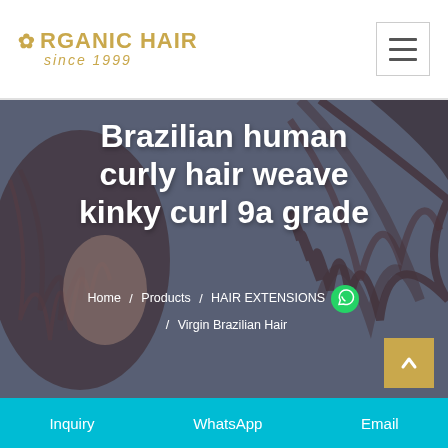ORGANIC HAIR since 1999
Brazilian human curly hair weave kinky curl 9a grade
Home / Products / HAIR EXTENSIONS / Virgin Brazilian Hair
Inquiry   WhatsApp   Email